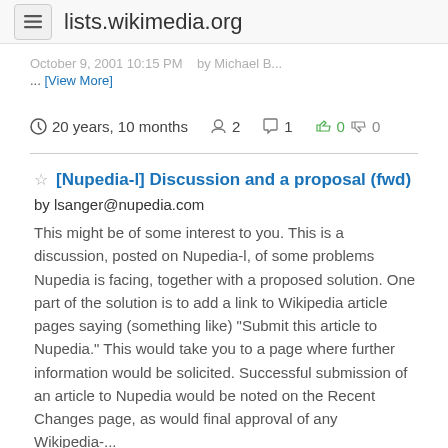lists.wikimedia.org
... [View More]
⊙ 20 years, 10 months  👤 2  💬 1  👍 0 👎 0
[Nupedia-l] Discussion and a proposal (fwd) by lsanger@nupedia.com This might be of some interest to you. This is a discussion, posted on Nupedia-l, of some problems Nupedia is facing, together with a proposed solution. One part of the solution is to add a link to Wikipedia article pages saying (something like) "Submit this article to Nupedia." This would take you to a page where further information would be solicited. Successful submission of an article to Nupedia would be noted on the Recent Changes page, as would final approval of any Wikipedia-...